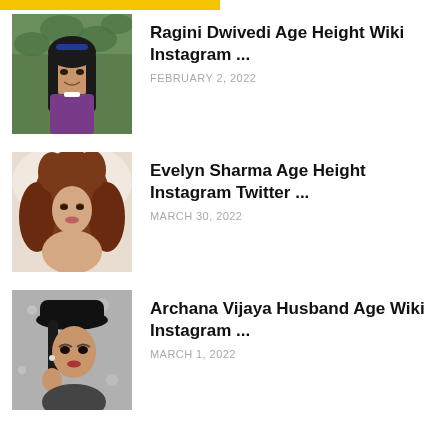Ragini Dwivedi Age Height Wiki Instagram ...
FEBRUARY 2, 2022
Evelyn Sharma Age Height Instagram Twitter ...
MARCH 30, 2022
Archana Vijaya Husband Age Wiki Instagram ...
MARCH 1, 2022
Gaelyn Mendonca Wiki Age Height Instagram ...
MARCH 10, 2022